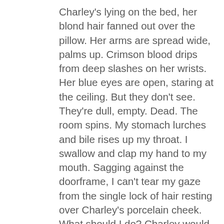Charley's lying on the bed, her blond hair fanned out over the pillow. Her arms are spread wide, palms up. Crimson blood drips from deep slashes on her wrists. Her blue eyes are open, staring at the ceiling. But they don't see. They're dull, empty. Dead. The room spins. My stomach lurches and bile rises up my throat. I swallow and clap my hand to my mouth. Sagging against the doorframe, I can't tear my gaze from the single lock of hair resting over Charley's porcelain cheek. What should I do? Charley would know what to do. As I stumble down the stairs, my mind clicks into gear. A scream rips out of my throat, eclipsing the pounding music. My foot slips on the beige carpet, sending me tumbling down the remaining stairs. My shoulder and back slam against the wall. I scramble to my feet, screaming, sobbing, then stagger into the hallway, colliding into a young man with the darkest eyes I've ever seen. My own force knocks me backwards. His strong grip clenches my arm, preventing me from falling. I try to